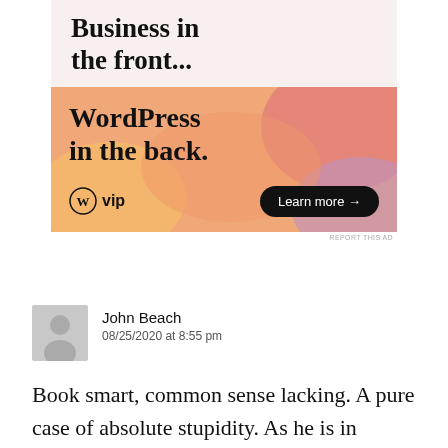[Figure (screenshot): WordPress VIP advertisement banner. Top section (light pink/beige background) shows large bold text 'Business in the front...' and bottom section shows colorful gradient (orange/salmon/mauve) with text 'WordPress in the back.' and WordPress VIP logo on left, 'Learn more →' button on right. Small 'REPORT THIS AD' text below.]
John Beach
08/25/2020 at 8:55 pm
Book smart, common sense lacking. A pure case of absolute stupidity. As he is in charge of our most precious resource